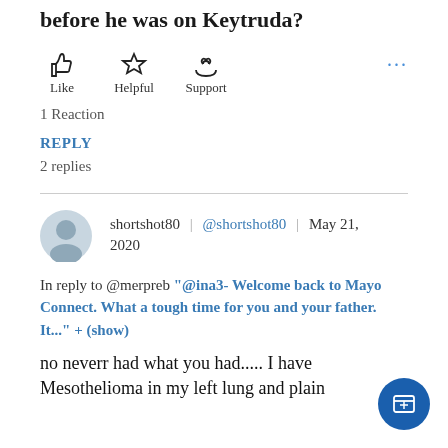Did your dad have any other treatments before he was on Keytruda?
[Figure (infographic): Three reaction buttons: Like (thumbs up icon), Helpful (star icon), Support (hand holding heart icon), with a '...' more options button on the right]
1 Reaction
REPLY
2 replies
[Figure (infographic): User avatar (gray silhouette) with username 'shortshot80 | @shortshot80 | May 21, 2020']
In reply to @merpreb "@ina3- Welcome back to Mayo Connect. What a tough time for you and your father. It..." + (show)
no neverr had what you had..... I have Mesothelioma in my left lung and plain